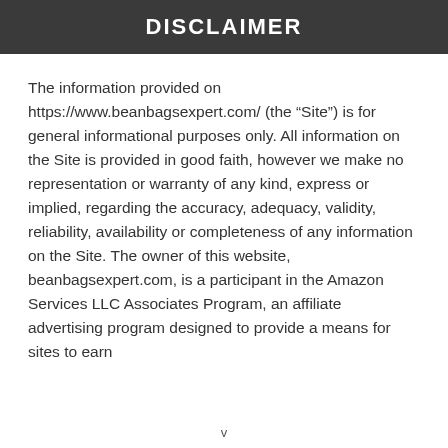DISCLAIMER
The information provided on https://www.beanbagsexpert.com/ (the “Site”) is for general informational purposes only. All information on the Site is provided in good faith, however we make no representation or warranty of any kind, express or implied, regarding the accuracy, adequacy, validity, reliability, availability or completeness of any information on the Site. The owner of this website, beanbagsexpert.com, is a participant in the Amazon Services LLC Associates Program, an affiliate advertising program designed to provide a means for sites to earn advertising fees by advertising and linking...
v